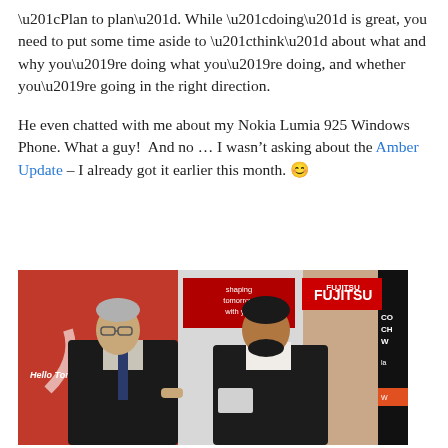“Plan to plan”. While “doing” is great, you need to put some time aside to “think” about what and why you’re doing what you’re doing, and whether you’re going in the right direction.
He even chatted with me about my Nokia Lumia 925 Windows Phone. What a guy!  And no … I wasn’t asking about the Amber Update – I already got it earlier this month. 😊
[Figure (photo): Two men in business attire having a conversation at an event with Fujitsu and other vendor banners in the background. A red banner on the left reads 'Hello Tomorrow', and a Fujitsu banner shows 'shaping tomorrow with you'.]